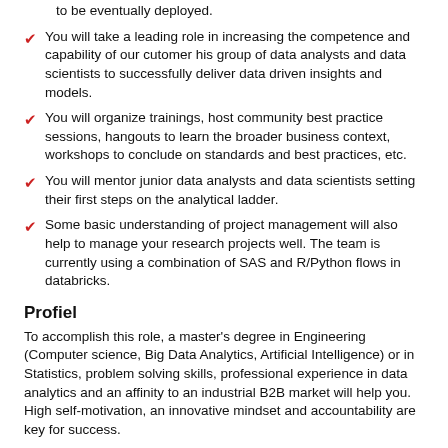to be eventually deployed.
You will take a leading role in increasing the competence and capability of our cutomer his group of data analysts and data scientists to successfully deliver data driven insights and models.
You will organize trainings, host community best practice sessions, hangouts to learn the broader business context, workshops to conclude on standards and best practices, etc.
You will mentor junior data analysts and data scientists setting their first steps on the analytical ladder.
Some basic understanding of project management will also help to manage your research projects well. The team is currently using a combination of SAS and R/Python flows in databricks.
Profiel
To accomplish this role, a master's degree in Engineering (Computer science, Big Data Analytics, Artificial Intelligence) or in Statistics, problem solving skills, professional experience in data analytics and an affinity to an industrial B2B market will help you. High self-motivation, an innovative mindset and accountability are key for success.
Organisatie profiel ambities